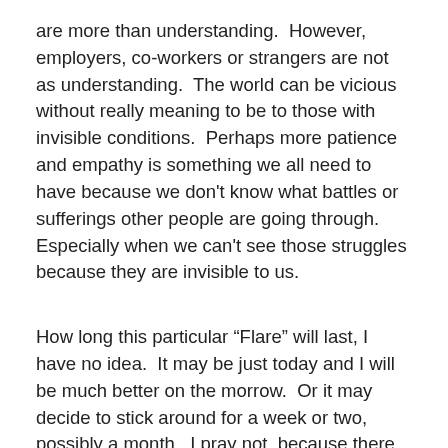are more than understanding.  However, employers, co-workers or strangers are not as understanding.  The world can be vicious without really meaning to be to those with invisible conditions.  Perhaps more patience and empathy is something we all need to have because we don't know what battles or sufferings other people are going through.  Especially when we can't see those struggles because they are invisible to us.
How long this particular “Flare” will last, I have no idea.  It may be just today and I will be much better on the morrow.  Or it may decide to stick around for a week or two, possibly a month.  I pray not, because there are things I need and want to get done.  I do not like being tired, sore, clumsy and fuzzy-brained.   But if it does last longer than a